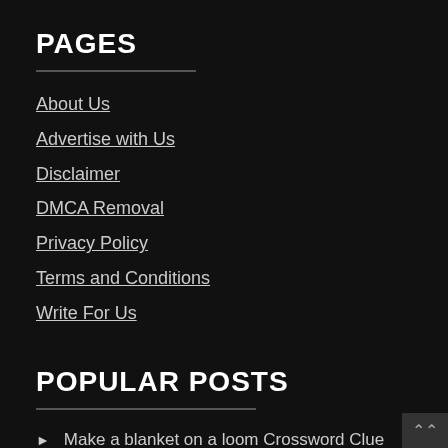PAGES
About Us
Advertise with Us
Disclaimer
DMCA Removal
Privacy Policy
Terms and Conditions
Write For Us
POPULAR POSTS
Make a blanket on a loom Crossword Clue
What Happened To Neena Pacholke From WAOW? Sad News As Morning Anchor Passed Away